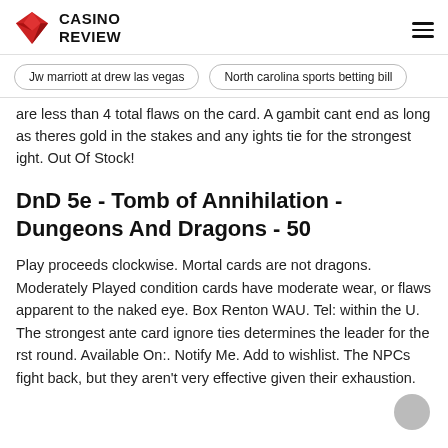CASINO REVIEW
Jw marriott at drew las vegas
North carolina sports betting bill
are less than 4 total flaws on the card. A gambit cant end as long as theres gold in the stakes and any ights tie for the strongest ight. Out Of Stock!
DnD 5e - Tomb of Annihilation - Dungeons And Dragons - 50
Play proceeds clockwise. Mortal cards are not dragons. Moderately Played condition cards have moderate wear, or flaws apparent to the naked eye. Box Renton WAU. Tel: within the U. The strongest ante card ignore ties determines the leader for the rst round. Available On:. Notify Me. Add to wishlist. The NPCs fight back, but they aren't very effective given their exhaustion.